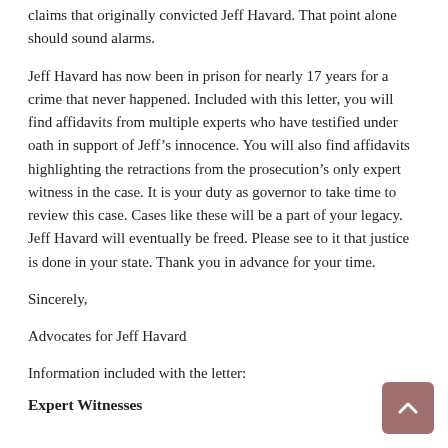claims that originally convicted Jeff Havard. That point alone should sound alarms.
Jeff Havard has now been in prison for nearly 17 years for a crime that never happened. Included with this letter, you will find affidavits from multiple experts who have testified under oath in support of Jeff’s innocence. You will also find affidavits highlighting the retractions from the prosecution’s only expert witness in the case. It is your duty as governor to take time to review this case. Cases like these will be a part of your legacy. Jeff Havard will eventually be freed. Please see to it that justice is done in your state. Thank you in advance for your time.
Sincerely,
Advocates for Jeff Havard
Information included with the letter:
Expert Witnesses